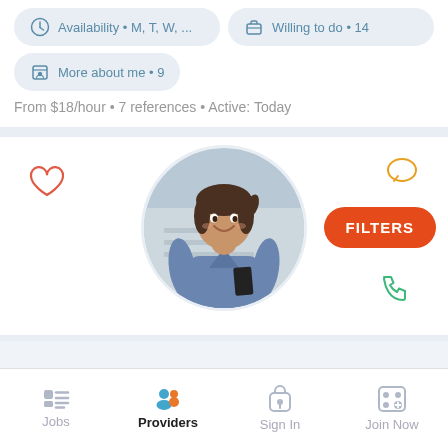Availability • M, T, W, ...
Willing to do • 14
More about me • 9
From $18/hour • 7 references • Active: Today
[Figure (photo): Profile photo of a female healthcare provider in blue scrubs, smiling, with a heart icon, chat bubble icon, phone icon, and FILTERS button overlaid]
Jobs | Providers | Sign In | Join Now